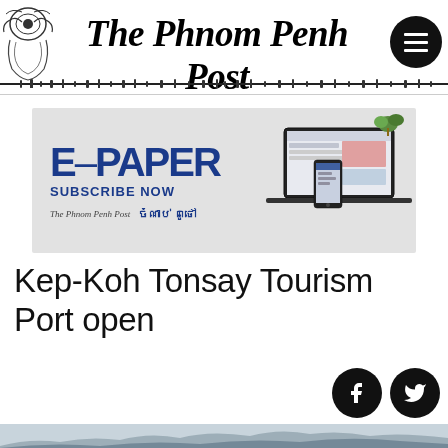The Phnom Penh Post
[Figure (infographic): E-PAPER SUBSCRIBE NOW advertisement banner with The Phnom Penh Post and Khmer logos, showing devices including laptop, tablet and smartphone]
Kep-Koh Tonsay Tourism Port open
[Figure (photo): Scenic coastal/mountain landscape photo, bottom strip visible showing mountains and water in misty conditions]